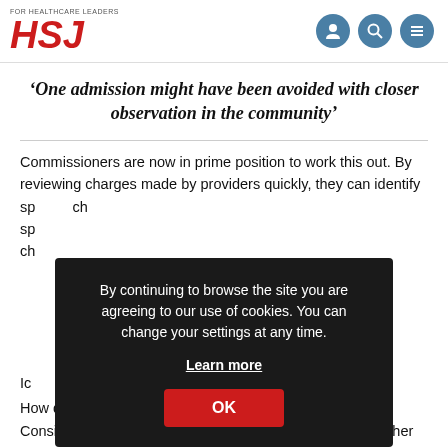HSJ — FOR HEALTHCARE LEADERS
‘One admission might have been avoided with closer observation in the community’
Commissioners are now in prime position to work this out. By reviewing charges made by providers quickly, they can identify sp... ch...
By continuing to browse the site you are agreeing to our use of cookies. You can change your settings at any time. Learn more OK
Ic...
How do you identify what is inappropriate and avoidable? Consider, for example, two admissions for COPD with neither